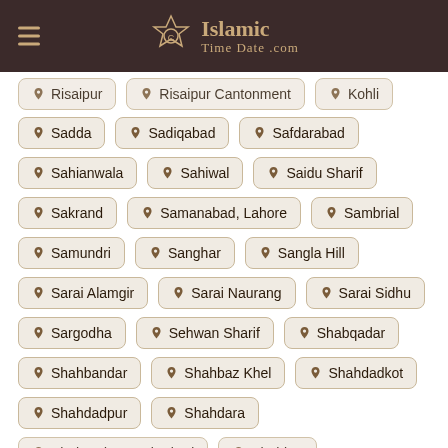Islamic Time Date .com
Risaipur
Risaipur Cantonment
Kohli
Sadda
Sadiqabad
Safdarabad
Sahianwala
Sahiwal
Saidu Sharif
Sakrand
Samanabad, Lahore
Sambrial
Samundri
Sanghar
Sangla Hill
Sarai Alamgir
Sarai Naurang
Sarai Sidhu
Sargodha
Sehwan Sharif
Shabqadar
Shahbandar
Shahbaz Khel
Shahdadkot
Shahdadpur
Shahdara
Shaheed Benazir Abad
Shahkot